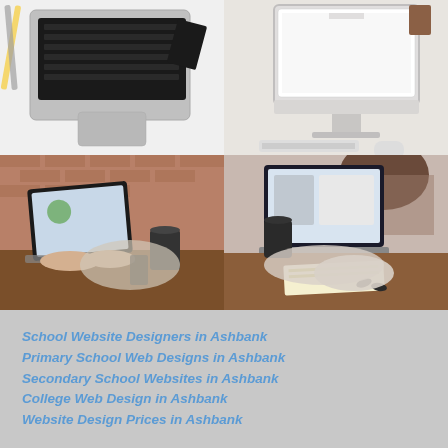[Figure (photo): Top-left: Overhead view of a MacBook laptop on a white desk with pencils]
[Figure (photo): Top-right: Apple iMac desktop computer on a white desk with keyboard and mouse]
[Figure (photo): Bottom-left: Person typing on a laptop at a wooden desk with brick wall background and a coffee cup]
[Figure (photo): Bottom-right: Person using a laptop at a desk with notes and a cup, viewed from behind]
School Website Designers in Ashbank
Primary School Web Designs in Ashbank
Secondary School Websites in Ashbank
College Web Design in Ashbank
Website Design Prices in Ashbank